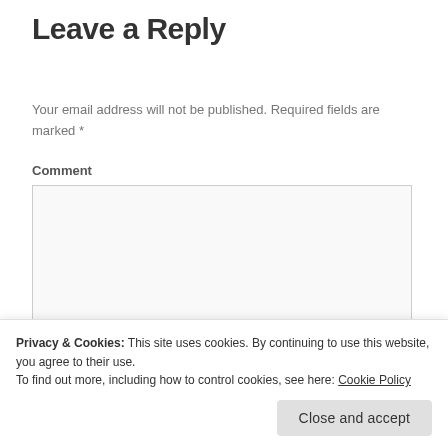Leave a Reply
Your email address will not be published. Required fields are marked *
Comment
[Comment textarea]
Name *
Privacy & Cookies: This site uses cookies. By continuing to use this website, you agree to their use. To find out more, including how to control cookies, see here: Cookie Policy
Close and accept